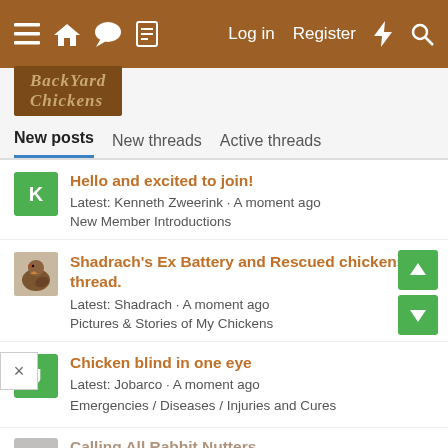≡ 🏠 💬 📄   Log in   Register   ⚡   🔍
[Figure (logo): BackYard Chickens logo in brown box]
New posts | New threads | Active threads
Hello and excited to join!
Latest: Kenneth Zweerink · A moment ago
New Member Introductions
Shadrach's Ex Battery and Rescued chickens thread.
Latest: Shadrach · A moment ago
Pictures & Stories of My Chickens
Chicken blind in one eye
Latest: Jobarco · A moment ago
Emergencies / Diseases / Injuries and Cures
Calling All Rabbit Nutters
Latest: All4Eggz · A moment ago